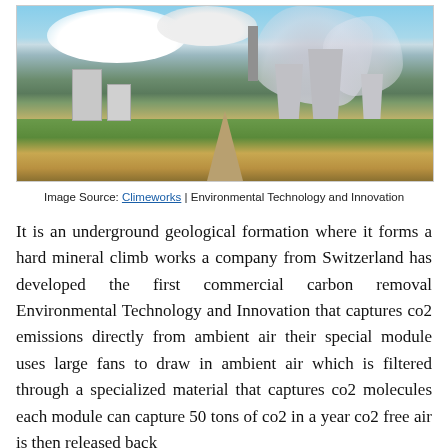[Figure (photo): Industrial power plant with large cooling towers emitting steam/smoke against a cloudy sky, with green and golden fields in the foreground and a dirt road leading toward the plant.]
Image Source: Climeworks | Environmental Technology and Innovation
It is an underground geological formation where it forms a hard mineral climb works a company from Switzerland has developed the first commercial carbon removal Environmental Technology and Innovation that captures co2 emissions directly from ambient air their special module uses large fans to draw in ambient air which is filtered through a specialized material that captures co2 molecules each module can capture 50 tons of co2 in a year co2 free air is then released back